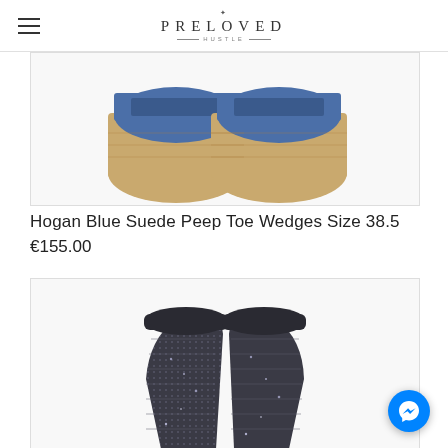PRELOVED HUSTLE
[Figure (photo): Back view of blue suede peep toe wedge shoes with cork wedge soles, shown on a white background — partial top crop visible]
Hogan Blue Suede Peep Toe Wedges Size 38.5
€155.00
[Figure (photo): Front/top view of dark navy/black knit ankle boots with metallic shimmer texture, shown on a white background — cropped from mid-shaft upward]